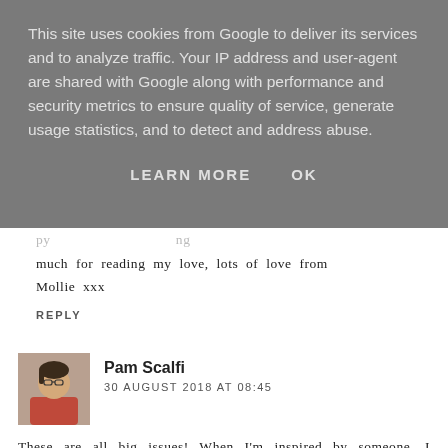This site uses cookies from Google to deliver its services and to analyze traffic. Your IP address and user-agent are shared with Google along with performance and security metrics to ensure quality of service, generate usage statistics, and to detect and address abuse.
LEARN MORE    OK
much for reading my love, lots of love from Mollie xxx
REPLY
[Figure (photo): Avatar photo of Pam Scalfi, a person shown from shoulders up]
Pam Scalfi
30 AUGUST 2018 AT 08:45
These are all big issues! When I'm inspired by someone, I always make sure to credit them because I wouldnt like it if other people didn't do the same. But copying someone is